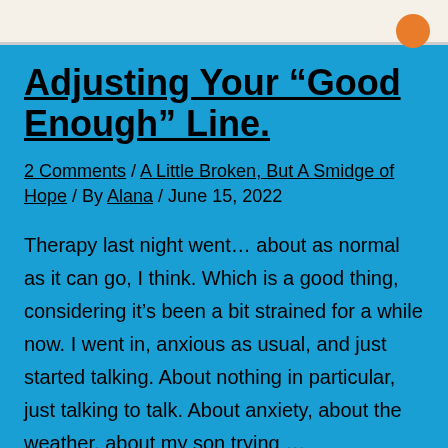Adjusting Your “Good Enough” Line.
2 Comments / A Little Broken, But A Smidge of Hope / By Alana / June 15, 2022
Therapy last night went… about as normal as it can go, I think. Which is a good thing, considering it’s been a bit strained for a while now. I went in, anxious as usual, and just started talking. About nothing in particular, just talking to talk. About anxiety, about the weather, about my son trying …